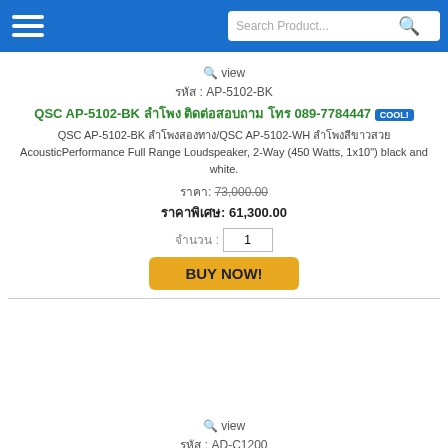Search Product...
view
รหัส : AP-5102-BK
QSC AP-5102-BK ลำโพง ติดต่อสอบถาม โทร 089-7784447 COOL!
QSC AP-5102-BK ลำโพงสองทาง/QSC AP-5102-WH ลำโพงสีขาวสวย AcousticPerformance Full Range Loudspeaker, 2-Way (450 Watts, 1x10") black and white.
ราคา: 73,000.00
ราคาพิเศษ: 61,300.00
จำนวน : 1
BUY NOW!
view
รหัส : AD-C1200
QSC AP-C1200 ลำโพง ติดต่อสอบถาม โทร 089-7784447 COOL!